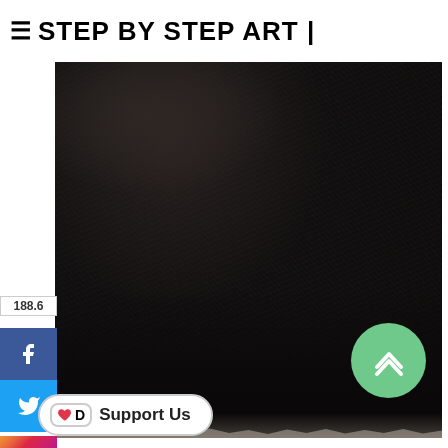≡ STEP BY STEP ART |
[Figure (photo): Dark textured black paper or canvas surface with rough torn-paper edges at the bottom, photographed from above against a dark background.]
188.6
Facebook social share button
Twitter social share button
Instagram social button
Pinterest social button
YouTube social button
Support Us